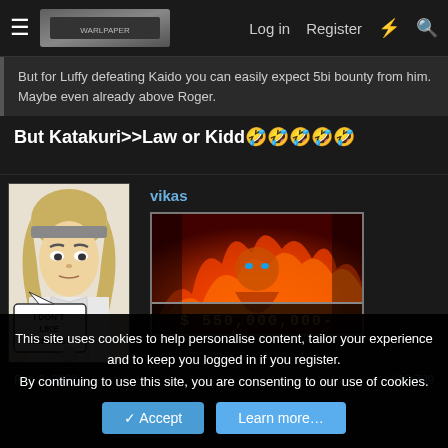Log in  Register
But for Luffy defeating Kaido you can easily expect 5bi bounty from him. Maybe even already above Roger.
But Katakuri>>Law or Kidd🤣🤣🤣🤣🤣
vikas
[Figure (illustration): Manga panel of a character with blonde hair saying 'I DON'T LIKE HUMANS!' in a speech bubble]
[Figure (illustration): One Piece bounty poster image showing a character in flames with text '$ 550,000,000-']
Feb 3, 2022
#10,709
This site uses cookies to help personalise content, tailor your experience and to keep you logged in if you register. By continuing to use this site, you are consenting to our use of cookies.